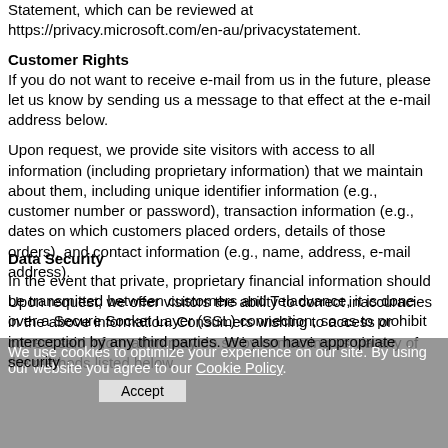Statement, which can be reviewed at https://privacy.microsoft.com/en-au/privacystatement.
Customer Rights
If you do not want to receive e-mail from us in the future, please let us know by sending us a message to that effect at the e-mail address below.
Upon request, we provide site visitors with access to all information (including proprietary information) that we maintain about them, including unique identifier information (e.g., customer number or password), transaction information (e.g., dates on which customers placed orders, details of those orders), and contact information (e.g., name, address, e-mail address).
Upon request, we offer visitors the ability to correct inaccuracies in the above information. Consumers wishing to access or correct said information may do so by contacting us via any of the methods listed below.
Data Security
In the event that private, proprietary financial information should be transmitted between customers and Teladvance, it is done over a Secure Socket Layer (SSL) connection, so as to prohibit interception by any third parties. We also have appropriate security